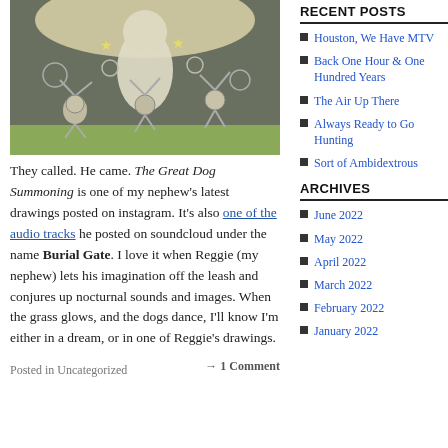[Figure (illustration): Cartoon illustration of dogs dancing under a night sky with stars and swirls, with a large central figure (possibly a ghost or dog) and coins/spirals in the air.]
They called. He came. The Great Dog Summoning is one of my nephew's latest drawings posted on instagram. It's also one of the audio tracks he posted on soundcloud under the name Burial Gate. I love it when Reggie (my nephew) lets his imagination off the leash and conjures up nocturnal sounds and images. When the grass glows, and the dogs dance, I'll know I'm either in a dream, or in one of Reggie's drawings.
Posted in Uncategorized
→ 1 Comment
RECENT POSTS
Houston, We Have MTV
Back One Hour & One Hundred Years
The Air Up There
Always Ready to Go Hunting
Sort of Ambidextrous
ARCHIVES
June 2022
May 2022
April 2022
March 2022
February 2022
January 2022